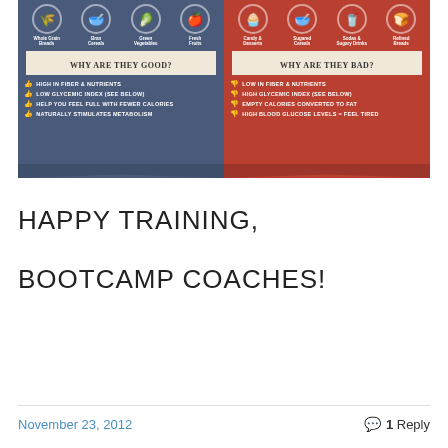[Figure (infographic): Two-panel infographic comparing good carbs (left, dark blue) and bad carbs (right, dark red). Good carbs panel shows icons for Whole Grain Breads, Bran Cereals, Green Vegetables, Fresh Fruits and lists benefits: HIGH IN FIBER & NUTRIENTS, LOW GLYCEMIC INDEX (SEE BELOW), HELP YOU FEEL FULL WITH FEWER CALORIES, NATURALLY STIMULATES METABOLISM. Bad carbs panel shows icons for Candy & Desserts, Sugared Cereals, Sodas & Sugary Drinks, Refined Breads and lists drawbacks: LOW IN FIBER & NUTRIENTS, HIGH GLYCEMIC INDEX (SEE BELOW), EMPTY CALORIES CONVERTED TO FAT, HIGH BLOOD GLUCOSE LEVELS = FEEL TIRED.]
HAPPY TRAINING,
BOOTCAMP COACHES!
November 23, 2012   1 Reply